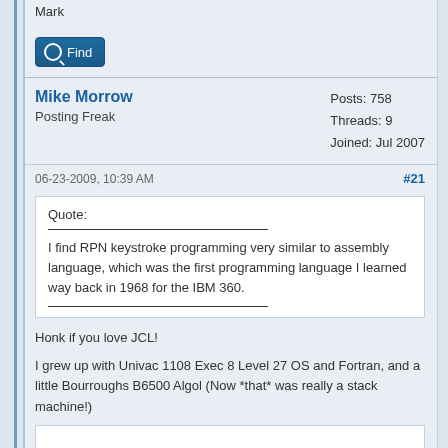Mark
Find
Mike Morrow
Posting Freak
Posts: 758
Threads: 9
Joined: Jul 2007
06-23-2009, 10:39 AM
#21
Quote:
I find RPN keystroke programming very similar to assembly language, which was the first programming language I learned way back in 1968 for the IBM 360.
Honk if you love JCL!
I grew up with Univac 1108 Exec 8 Level 27 OS and Fortran, and a little Bourroughs B6500 Algol (Now *that* was really a stack machine!)